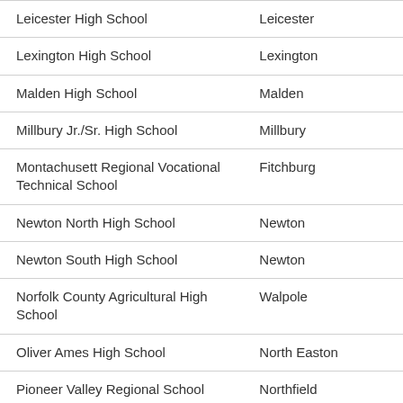| School | City |
| --- | --- |
| Leicester High School | Leicester |
| Lexington High School | Lexington |
| Malden High School | Malden |
| Millbury Jr./Sr. High School | Millbury |
| Montachusett Regional Vocational Technical School | Fitchburg |
| Newton North High School | Newton |
| Newton South High School | Newton |
| Norfolk County Agricultural High School | Walpole |
| Oliver Ames High School | North Easton |
| Pioneer Valley Regional School | Northfield |
| Plymouth South High School | Plymouth |